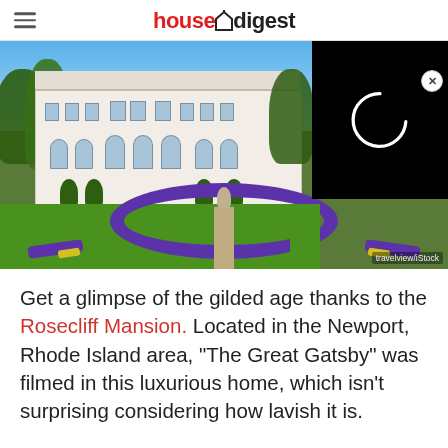housedigest
[Figure (photo): Rosecliff Mansion with formal gardens featuring purple flower beds in circular patterns, fountain, and green lawn. A video overlay with loading spinner appears in the upper right corner. Photo credit: travelview/iStock]
Get a glimpse of the gilded age thanks to the Rosecliff Mansion. Located in the Newport, Rhode Island area, "The Great Gatsby" was filmed in this luxurious home, which isn't surprising considering how lavish it is.